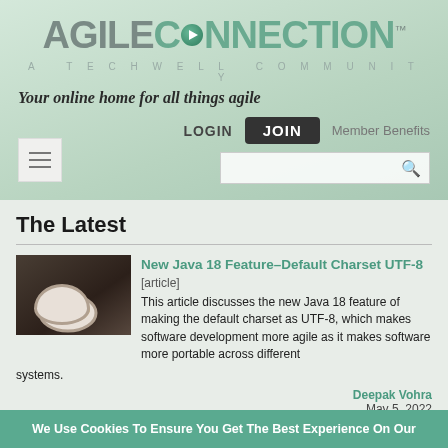[Figure (logo): AgileConnection logo — 'AGILE' in grey, 'CONNECTION' in teal with green play-button circle, 'A TECHWELL COMMUNITY' subtitle, TM mark]
Your online home for all things agile
LOGIN   JOIN   Member Benefits
[Figure (screenshot): Hamburger menu icon and search box]
The Latest
[Figure (photo): Coffee cup thumbnail for Java article]
New Java 18 Feature–Default Charset UTF-8 [article] This article discusses the new Java 18 feature of making the default charset as UTF-8, which makes software development more agile as it makes software more portable across different systems.
Deepak Vohra
May 5, 2022
[Figure (photo): Tech/laptop thumbnail for software trends article]
Top 7 Software Development Trends for 2022 [article] For software companies and developers, keeping up with the
We Use Cookies To Ensure You Get The Best Experience On Our